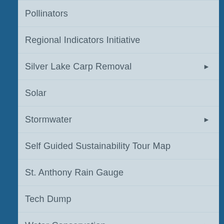Pollinators
Regional Indicators Initiative
Silver Lake Carp Removal
Solar
Stormwater
Self Guided Sustainability Tour Map
St. Anthony Rain Gauge
Tech Dump
Water Conservation